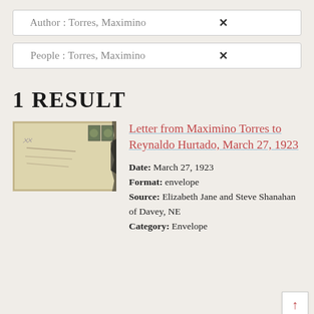Author : Torres, Maximino
People : Torres, Maximino
1 RESULT
[Figure (photo): Photograph of an old envelope with postage stamps and handwritten address]
Letter from Maximino Torres to Reynaldo Hurtado, March 27, 1923
Date: March 27, 1923
Format: envelope
Source: Elizabeth Jane and Steve Shanahan of Davey, NE
Category: Envelope